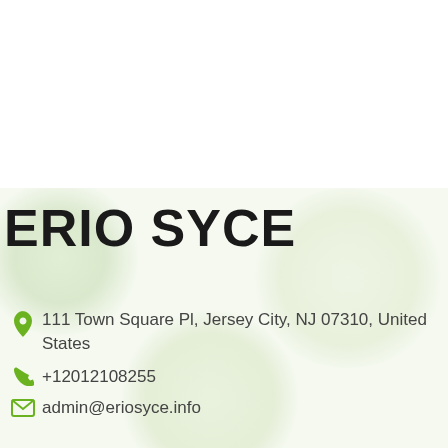ERIO SYCE
111 Town Square Pl, Jersey City, NJ 07310, United States
+12012108255
admin@eriosyce.info
Contact Us
Register or log...